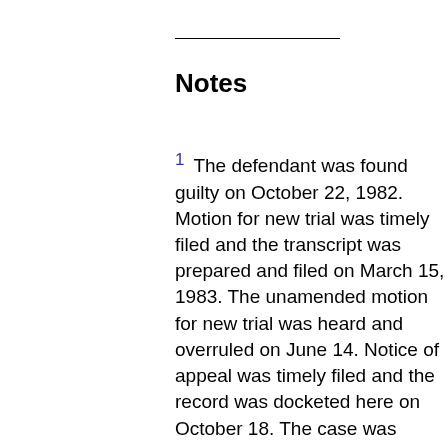Notes
1  The defendant was found guilty on October 22, 1982. Motion for new trial was timely filed and the transcript was prepared and filed on March 15, 1983. The unamended motion for new trial was heard and overruled on June 14. Notice of appeal was timely filed and the record was docketed here on October 18. The case was submitted for decision by this